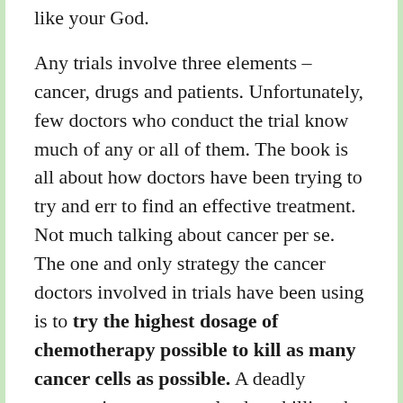like your God.
Any trials involve three elements – cancer, drugs and patients. Unfortunately, few doctors who conduct the trial know much of any or all of them. The book is all about how doctors have been trying to try and err to find an effective treatment. Not much talking about cancer per se. The one and only strategy the cancer doctors involved in trials have been using is to try the highest dosage of chemotherapy possible to kill as many cancer cells as possible. A deadly strategy in some cases leads to killing the patients before the cancer has a chance to kill the patient.
The message this book delivers is that no current orthodox treatments could cure any cancer.
□□□□□□□□□□□□□□Siddhartha Mukherjee□□□□□□□□□